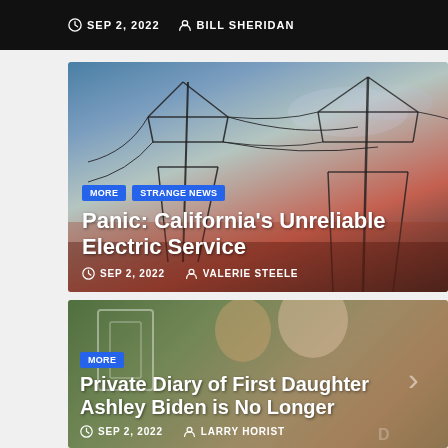SEP 2, 2022  BILL SHERIDAN
[Figure (photo): Power transmission towers silhouetted against a dramatic dusk sky with blue and red hues]
MORE  STRANGE NEWS
Panic: California's Unreliable Electric Service
SEP 2, 2022  VALERIE STEELE
[Figure (photo): Two people posing together at an event, smiling, in front of a green floral wall backdrop]
MORE
Private Diary of First Daughter Ashley Biden is No Longer
SEP 2, 2022  LARRY HORIST